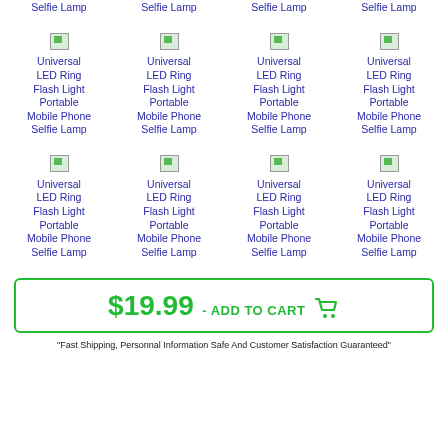[Figure (screenshot): E-commerce product listing page showing Universal LED Ring Flash Light Portable Mobile Phone Selfie Lamp products in a 4-column grid with partial top row, two full rows, an Add to Cart button, and a guarantee text.]
Universal LED Ring Flash Light Portable Mobile Phone Selfie Lamp (repeated in 4-column grid, 2.5 rows visible)
$19.99 - ADD TO CART
"Fast Shipping, Personnal Information Safe And Customer Satisfaction Guaranteed"